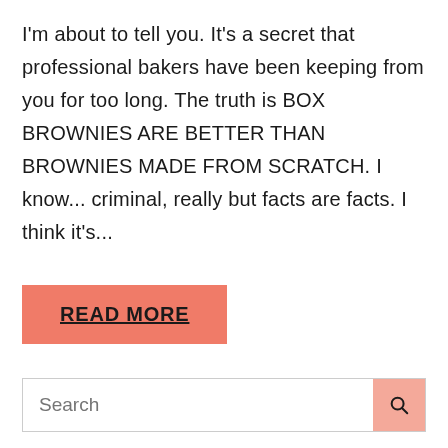I'm about to tell you. It's a secret that professional bakers have been keeping from you for too long. The truth is BOX BROWNIES ARE BETTER THAN BROWNIES MADE FROM SCRATCH.  I know... criminal, really but facts are facts.  I think it's...
READ MORE
Search